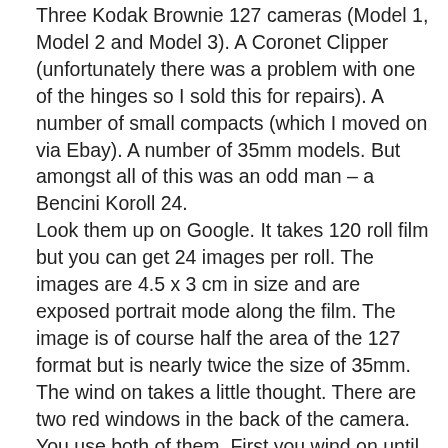Three Kodak Brownie 127 cameras (Model 1, Model 2 and Model 3). A Coronet Clipper (unfortunately there was a problem with one of the hinges so I sold this for repairs). A number of small compacts (which I moved on via Ebay). A number of 35mm models. But amongst all of this was an odd man – a Bencini Koroll 24. Look them up on Google. It takes 120 roll film but you can get 24 images per roll. The images are 4.5 x 3 cm in size and are exposed portrait mode along the film. The image is of course half the area of the 127 format but is nearly twice the size of 35mm. The wind on takes a little thought. There are two red windows in the back of the camera. You use both of them. First you wind on until the frame number appears in the left hand window. Once exposed you wind the film on until the same number appears in the right hand window. You then wind on until the next number appears in the left hand window and repeat until all 24 frames are exposed. I have only run one roll of film through this camera but it is loaded again for more work. But I made a couple of